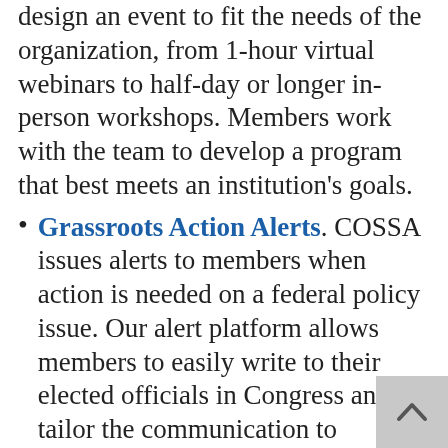design an event to fit the needs of the organization, from 1-hour virtual webinars to half-day or longer in-person workshops. Members work with the team to develop a program that best meets an institution's goals.
Grassroots Action Alerts. COSSA issues alerts to members when action is needed on a federal policy issue. Our alert platform allows members to easily write to their elected officials in Congress and tailor the communication to highlight their own expertise and local impacts. COSSA members receive background information and talking points to help them craft their message